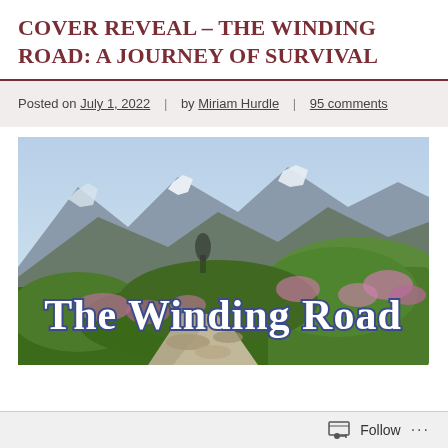COVER REVEAL – THE WINDING ROAD: A JOURNEY OF SURVIVAL
Posted on July 1, 2022  |  by Miriam Hurdle  |  95 comments
[Figure (illustration): Book cover image showing a mountain landscape with rocky path, green grass and pink wildflowers, with large stylized white text reading 'The Winding Road' overlaid.]
Follow  ...